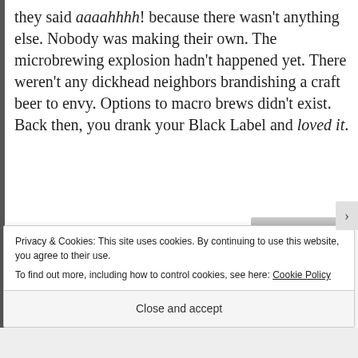they said aaaahhhh! because there wasn't anything else. Nobody was making their own. The microbrewing explosion hadn't happened yet. There weren't any dickhead neighbors brandishing a craft beer to envy. Options to macro brews didn't exist. Back then, you drank your Black Label and loved it.
Enter the 1980s. With the proliferation of microbreweries came a
[Figure (photo): A dark jar or canister with a metallic lid, photographed against a white background]
Privacy & Cookies: This site uses cookies. By continuing to use this website, you agree to their use.
To find out more, including how to control cookies, see here: Cookie Policy
Close and accept